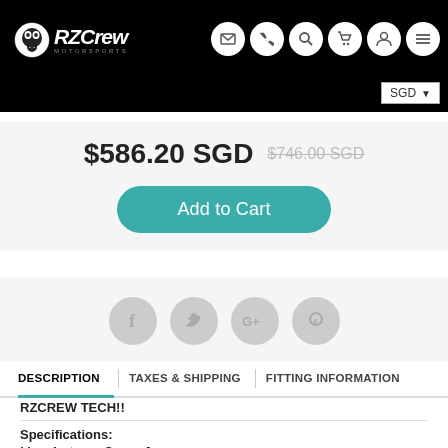RZCrew header with logo, navigation icons, and SGD currency selector
$586.20 SGD  $746.00 SGD (strikethrough)
Add to Cart
[Figure (other): Social media share icons: Facebook, Twitter, Google+, Pinterest]
DESCRIPTION  |  TAXES & SHIPPING  |  FITTING INFORMATION
RZCREW TECH!!
Specifications:
Manufacturer: Cusco Japan